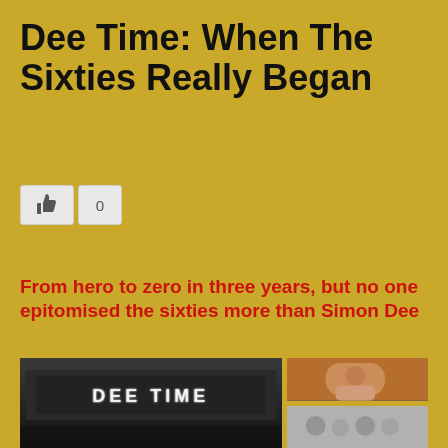Dee Time: When The Sixties Really Began
[Figure (other): Like/thumbs-up button with count 0]
From hero to zero in three years, but no one epitomised the sixties more than Simon Dee
[Figure (photo): Two photos side by side: left is a black and white image of the 'DEE TIME' sign on a building; right column has two colour/black-and-white photos of people (Simon Dee and others)]